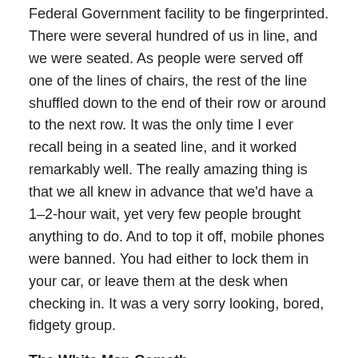Federal Government facility to be fingerprinted. There were several hundred of us in line, and we were seated. As people were served off one of the lines of chairs, the rest of the line shuffled down to the end of their row or around to the next row. It was the only time I ever recall being in a seated line, and it worked remarkably well. The really amazing thing is that we all knew in advance that we'd have a 1–2-hour wait, yet very few people brought anything to do. And to top it off, mobile phones were banned. You had either to lock them in your car, or leave them at the desk when checking in. It was a very sorry looking, bored, fidgety group.
The White Man Cometh
My son was born in Washington DC, a federal territory of the Unites States. [For the purposes of this story, it is important to know that the majority of DC's population is black, and that my family is white.] Three months later, to get him a passport, we had to go to the District's "Births, Deaths, Marriages, etc."